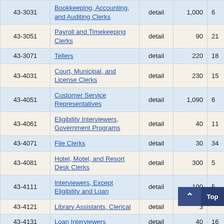| Code | Occupation | Level | Value1 | Value2 |
| --- | --- | --- | --- | --- |
| 43-3031 | Bookkeeping, Accounting, and Auditing Clerks | detail | 1,000 | 6... |
| 43-3051 | Payroll and Timekeeping Clerks | detail | 90 | 21... |
| 43-3071 | Tellers | detail | 220 | 18... |
| 43-4031 | Court, Municipal, and License Clerks | detail | 230 | 15... |
| 43-4051 | Customer Service Representatives | detail | 1,090 | 6... |
| 43-4061 | Eligibility Interviewers, Government Programs | detail | 40 | 11... |
| 43-4071 | File Clerks | detail | 30 | 34... |
| 43-4081 | Hotel, Motel, and Resort Desk Clerks | detail | 300 | 5... |
| 43-4111 | Interviewers, Except Eligibility and Loan | detail | 100 | 5... |
| 43-4121 | Library Assistants, Clerical | detail | 3... | ... |
| 43-4131 | Loan Interviewers | detail | 40 | 16... |